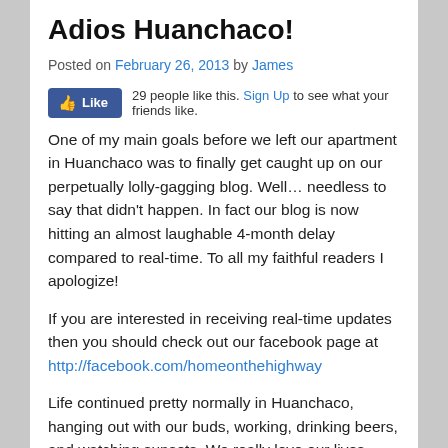Adios Huanchaco!
Posted on February 26, 2013 by James
[Figure (other): Facebook Like button widget showing 29 people like this with a Sign Up link]
One of my main goals before we left our apartment in Huanchaco was to finally get caught up on our perpetually lolly-gagging blog. Well… needless to say that didn't happen. In fact our blog is now hitting an almost laughable 4-month delay compared to real-time. To all my faithful readers I apologize!
If you are interested in receiving real-time updates then you should check out our facebook page at http://facebook.com/homeonthehighway
Life continued pretty normally in Huanchaco, hanging out with our buds, working, drinking beers, and watching sunsets. We really love our lives here in Huanchaco but we were starting to feel that itch to get back on the road. We finally made the decision to tell our landlord that November would be our last month in the apartment.